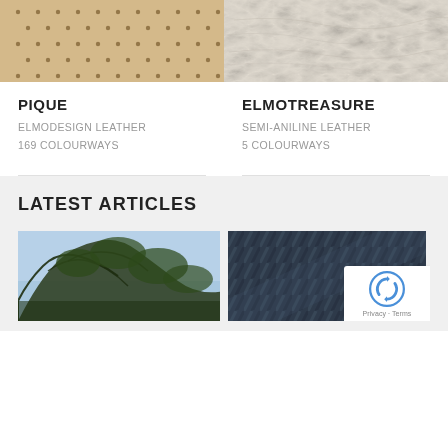[Figure (photo): Close-up of beige/tan perforated leather texture (Pique)]
[Figure (photo): Close-up of off-white/cream smooth leather texture (Elmotreasure)]
PIQUE
ELMODESIGN LEATHER
169 COLOURWAYS
ELMOTREASURE
SEMI-ANILINE LEATHER
5 COLOURWAYS
LATEST ARTICLES
[Figure (photo): Photo of tree branches with leaves against a blue sky]
[Figure (photo): Close-up of dark blue/navy woven fabric texture]